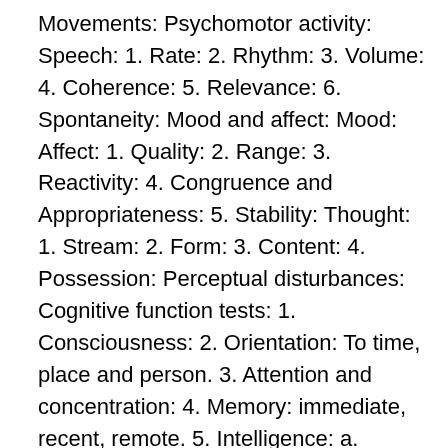Movements: Psychomotor activity: Speech: 1. Rate: 2. Rhythm: 3. Volume: 4. Coherence: 5. Relevance: 6. Spontaneity: Mood and affect: Mood: Affect: 1. Quality: 2. Range: 3. Reactivity: 4. Congruence and Appropriateness: 5. Stability: Thought: 1. Stream: 2. Form: 3. Content: 4. Possession: Perceptual disturbances: Cognitive function tests: 1. Consciousness: 2. Orientation: To time, place and person. 3. Attention and concentration: 4. Memory: immediate, recent, remote. 5. Intelligence: a. General fund of knowledge: b. Arithmetic ability: 6. Abstract thinking: Differences and similarities, proverb interpretation. 7. Comprehension: Insight: Judgment: personal, social, test. Stage of motivation: General physical examination: Systemic examination: Investigations: Diagnostic formulation: Diagnosis: 14 Case Vignettes A 69 years old married male person with education up to MA was a